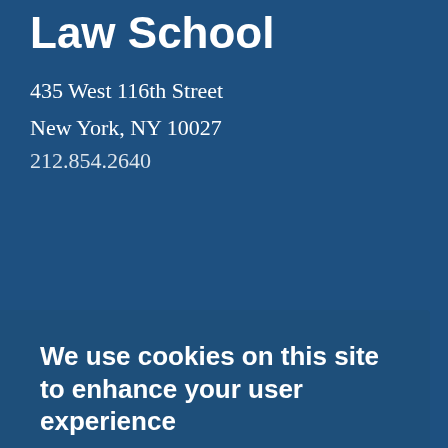Law School
435 West 116th Street
New York, NY 10027
212.854.2640
We use cookies on this site to enhance your user experience
Review Privacy Policy
DISMISS